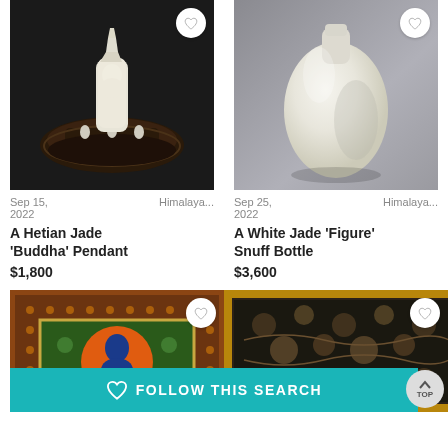[Figure (photo): A Hetian Jade Buddha Pendant on dark wooden stand against black background]
Sep 15, 2022   Himalaya...
A Hetian Jade 'Buddha' Pendant
$1,800
[Figure (photo): A White Jade Figure Snuff Bottle against grey background]
Sep 25, 2022   Himalaya...
A White Jade 'Figure' Snuff Bottle
$3,600
[Figure (photo): Decorative textile with orange circular motif and floral borders]
[Figure (photo): Framed textile with dark floral tapestry pattern]
FOLLOW THIS SEARCH